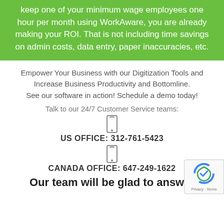keep one of your minimum wage employees one hour per month using WorkAware, you are already making your ROI. That is not including time savings on admin costs, data entry, paper inaccuracies, etc.
Empower Your Business with our Digitization Tools and Increase Business Productivity and Bottomline. See our software in action! Schedule a demo today!
Talk to our 24/7 Customer Service teams:
[Figure (illustration): Phone/mobile icon]
US OFFICE: 312-761-5423
[Figure (illustration): Phone/mobile icon]
CANADA OFFICE: 647-249-1622
Our team will be glad to answer